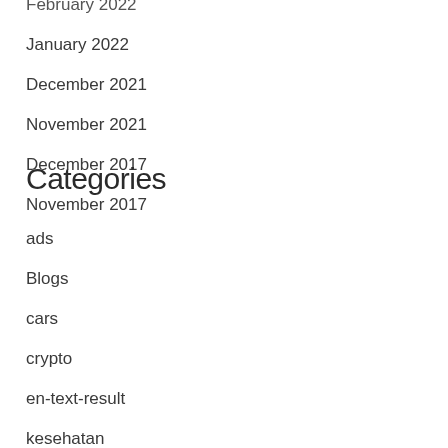February 2022
January 2022
December 2021
November 2021
December 2017
November 2017
Categories
ads
Blogs
cars
crypto
en-text-result
kesehatan
News
personal tech
slot deposit dana